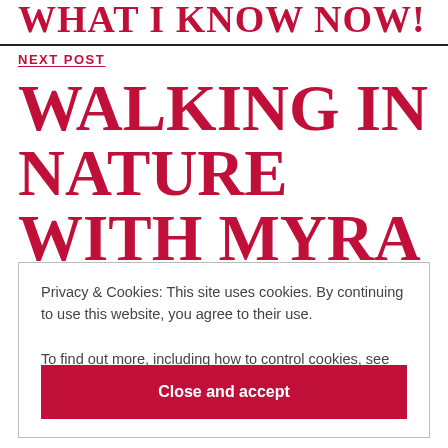WHAT I KNOW NOW!
NEXT POST
WALKING IN NATURE WITH MYRA VIOLA WILDS
Privacy & Cookies: This site uses cookies. By continuing to use this website, you agree to their use.
To find out more, including how to control cookies, see here: Cookie Policy
Close and accept